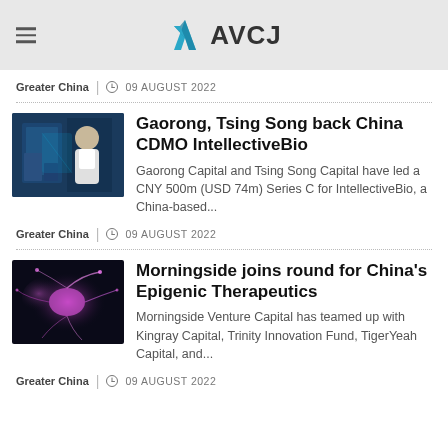AVCJ
Greater China | 09 AUGUST 2022
Gaorong, Tsing Song back China CDMO IntellectiveBio
Gaorong Capital and Tsing Song Capital have led a CNY 500m (USD 74m) Series C for IntellectiveBio, a China-based...
Greater China | 09 AUGUST 2022
Morningside joins round for China's Epigenic Therapeutics
Morningside Venture Capital has teamed up with Kingray Capital, Trinity Innovation Fund, TigerYeah Capital, and...
Greater China | 09 AUGUST 2022